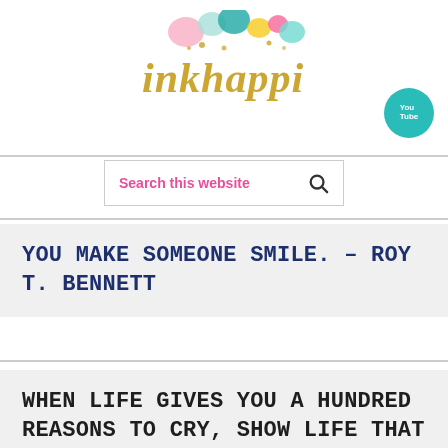[Figure (logo): inkhappi logo with colorful watercolor balloons/blobs and gold glitter script text reading 'inkhappi']
[Figure (logo): YouTube round teal button icon with 'You Tube' text]
Search this website
You make someone smile. – Roy T. Bennett
When life gives you a hundred reasons to cry, show life that you have a thousand reasons to